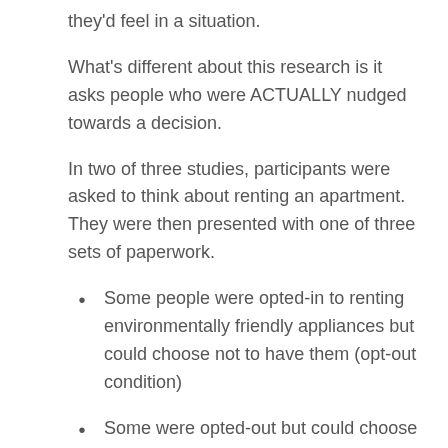they'd feel in a situation.
What's different about this research is it asks people who were ACTUALLY nudged towards a decision.
In two of three studies, participants were asked to think about renting an apartment. They were then presented with one of three sets of paperwork.
Some people were opted-in to renting environmentally friendly appliances but could choose not to have them (opt-out condition)
Some were opted-out but could choose to rent them (opt-in condition); and